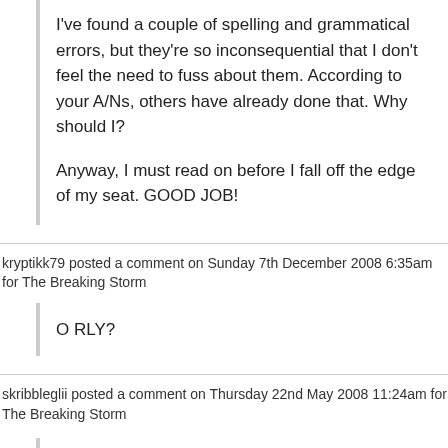I've found a couple of spelling and grammatical errors, but they're so inconsequential that I don't feel the need to fuss about them. According to your A/Ns, others have already done that. Why should I?

Anyway, I must read on before I fall off the edge of my seat. GOOD JOB!
kryptikk79 posted a comment on Sunday 7th December 2008 6:35am for The Breaking Storm
O RLY?
skribbleglii posted a comment on Thursday 22nd May 2008 11:24am for The Breaking Storm
Aww, this chapter was both action filled and